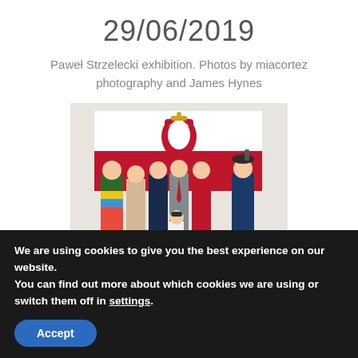29/06/2019
Paweł Strzelecki exhibition. Photos by miacortez photography and James Hynes
[Figure (photo): Group of people in traditional Polish costumes and formal wear standing in front of a Polish flag/coat of arms backdrop]
We are using cookies to give you the best experience on our website.
You can find out more about which cookies we are using or switch them off in settings.
Accept